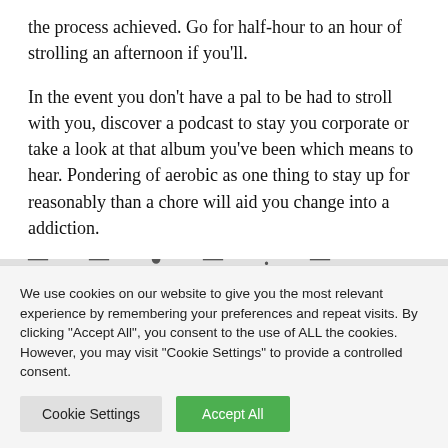the process achieved. Go for half-hour to an hour of strolling an afternoon if you'll.
In the event you don't have a pal to be had to stroll with you, discover a podcast to stay you corporate or take a look at that album you've been which means to hear. Pondering of aerobic as one thing to stay up for reasonably than a chore will aid you change into a addiction.
We use cookies on our website to give you the most relevant experience by remembering your preferences and repeat visits. By clicking "Accept All", you consent to the use of ALL the cookies. However, you may visit "Cookie Settings" to provide a controlled consent.